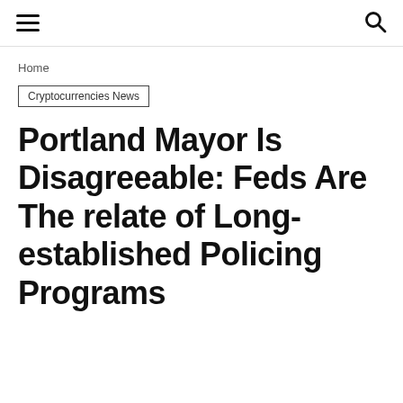≡  🔍
Home
Cryptocurrencies News
Portland Mayor Is Disagreeable: Feds Are The relate of Long-established Policing Programs